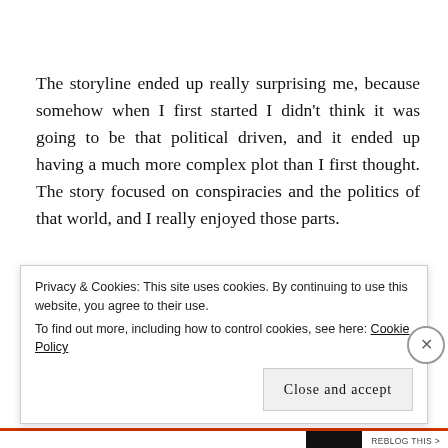The storyline ended up really surprising me, because somehow when I first started I didn't think it was going to be that political driven, and it ended up having a much more complex plot than I first thought. The story focused on conspiracies and the politics of that world, and I really enjoyed those parts.
I would say, however, that the characters weren't my favorite. At the beginning of the story I quite
Privacy & Cookies: This site uses cookies. By continuing to use this website, you agree to their use.
To find out more, including how to control cookies, see here: Cookie Policy
Close and accept